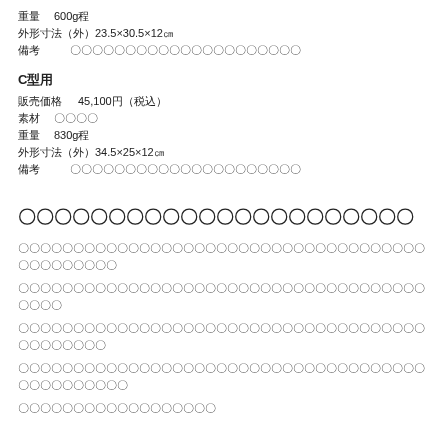重量　600g程
外形寸法（外） 23.5×30.5×12㎝
備考　〇〇〇〇〇〇〇〇〇〇〇〇〇〇〇〇〇〇〇〇〇
C型用
販売価格　45,100円（税込）
素材　〇〇〇〇
重量　830g程
外形寸法（外） 34.5×25×12㎝
備考　〇〇〇〇〇〇〇〇〇〇〇〇〇〇〇〇〇〇〇〇〇
〇〇〇〇〇〇〇〇〇〇〇〇〇〇〇〇〇〇〇〇〇〇
〇〇〇〇〇〇〇〇〇〇〇〇〇〇〇〇〇〇〇〇〇〇〇〇〇〇〇〇〇〇〇〇〇〇〇〇〇〇〇〇〇〇〇〇〇〇
〇〇〇〇〇〇〇〇〇〇〇〇〇〇〇〇〇〇〇〇〇〇〇〇〇〇〇〇〇〇〇〇〇〇〇〇〇〇〇〇〇
〇〇〇〇〇〇〇〇〇〇〇〇〇〇〇〇〇〇〇〇〇〇〇〇〇〇〇〇〇〇〇〇〇〇〇〇〇〇〇〇〇〇〇〇〇
〇〇〇〇〇〇〇〇〇〇〇〇〇〇〇〇〇〇〇〇〇〇〇〇〇〇〇〇〇〇〇〇〇〇〇〇〇〇〇〇〇〇〇〇〇〇〇
〇〇〇〇〇〇〇〇〇〇〇〇〇〇〇〇〇〇